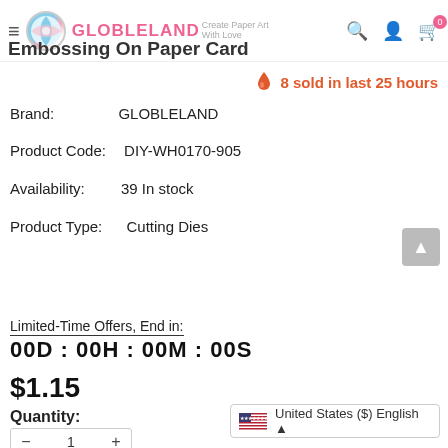GLOBLELAND — Embossing On Paper Card
🔥 8 sold in last 25 hours
Brand: GLOBLELAND
Product Code: DIY-WH0170-905
Availability: 39 In stock
Product Type: Cutting Dies
Limited-Time Offers, End in:
00D : 00H : 00M : 00S
$1.15
Quantity:
United States ($) English ▲